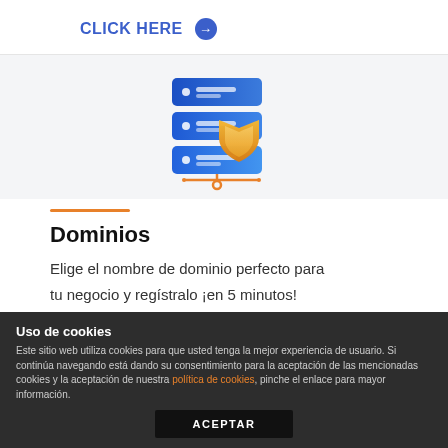CLICK HERE →
[Figure (illustration): Server stack icon with three blue layered disks and an orange/gold security shield overlay, with an orange network connector line below]
Dominios
Elige el nombre de dominio perfecto para tu negocio y regístralo ¡en 5 minutos!
Uso de cookies
Este sitio web utiliza cookies para que usted tenga la mejor experiencia de usuario. Si continúa navegando está dando su consentimiento para la aceptación de las mencionadas cookies y la aceptación de nuestra política de cookies, pinche el enlace para mayor información.
ACEPTAR